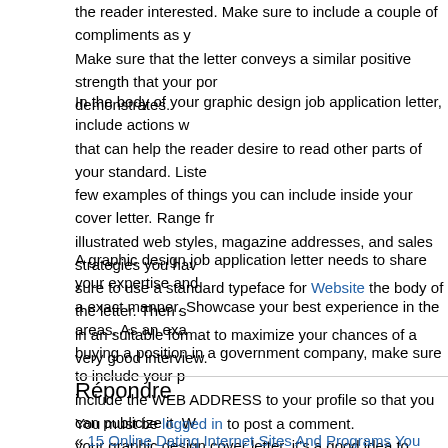the reader interested. Make sure to include a couple of compliments as y... Make sure that the letter conveys a similar positive strength that your por... demonstrates.
In the body of your graphic design job application letter, include actions w... that can help the reader desire to read other parts of your standard. Liste... few examples of things you can include inside your cover letter. Range fr... illustrated web styles, magazine addresses, and sales strategies you hav... sure to use a standard typeface for Website the body of the letter. Then s... in an suitable format to maximize your chances of a very good interview.
A graphic design job application letter needs to share your expertise and ... a exact manner. Showcase your best experience in the areas. As an exa... buying a position in a government company, make sure to include your p... include the WEB ADDRESS to your profile so that you can publicize it. W... your graphic design cover letter, it’s a good idea to provide links to your p... your work.
Répondre
You must be logged in to post a comment.
« 15 Online Dating Internet Sites And Programs You Want To Find out ab...